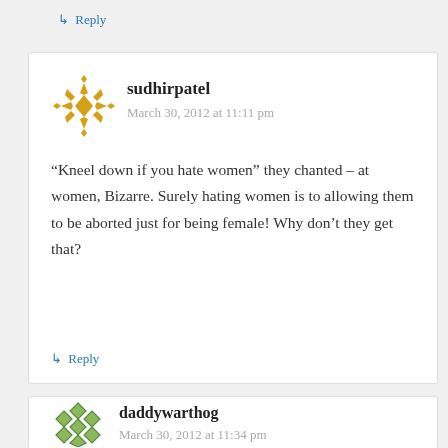↳ Reply
sudhirpatel
March 30, 2012 at 11:11 pm
“Kneel down if you hate women” they chanted – at women, Bizarre. Surely hating women is to allowing them to be aborted just for being female! Why don’t they get that?
↳ Reply
daddywarthog
March 30, 2012 at 11:34 pm